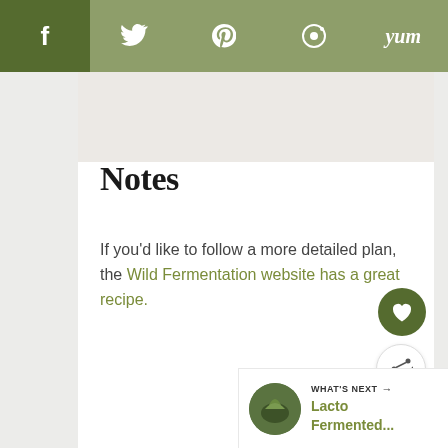f  [twitter]  [pinterest]  [reddit]  yum
Notes
If you'd like to follow a more detailed plan, the Wild Fermentation website has a great recipe.
WHAT'S NEXT → Lacto Fermented...